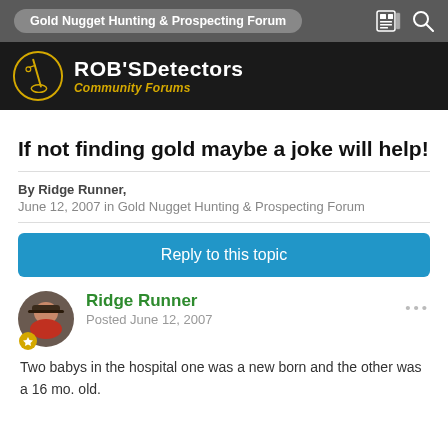Gold Nugget Hunting & Prospecting Forum
[Figure (logo): Rob's Detectors Community Forums logo with circular metal detector icon]
If not finding gold maybe a joke will help!
By Ridge Runner, June 12, 2007 in Gold Nugget Hunting & Prospecting Forum
Reply to this topic
Ridge Runner
Posted June 12, 2007
Two babys in the hospital one was a new born and the other was a 16 mo. old.